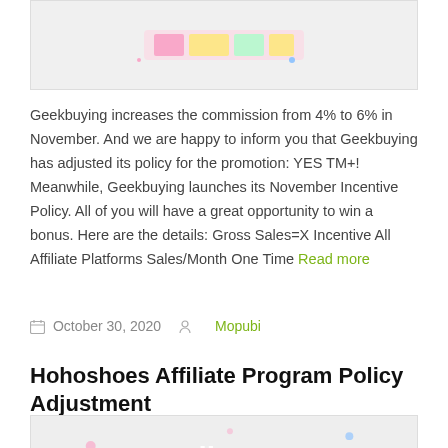[Figure (illustration): Decorative banner image at top of page, partially visible]
Geekbuying increases the commission from 4% to 6% in November. And we are happy to inform you that Geekbuying has adjusted its policy for the promotion: YES TM+! Meanwhile, Geekbuying launches its November Incentive Policy. All of you will have a great opportunity to win a bonus. Here are the details: Gross Sales=X Incentive All Affiliate Platforms Sales/Month One Time Read more
October 30, 2020   Mopubi
Hohoshoes Affiliate Program Policy Adjustment
[Figure (illustration): Decorative image with text 'Policy' visible at bottom of page]